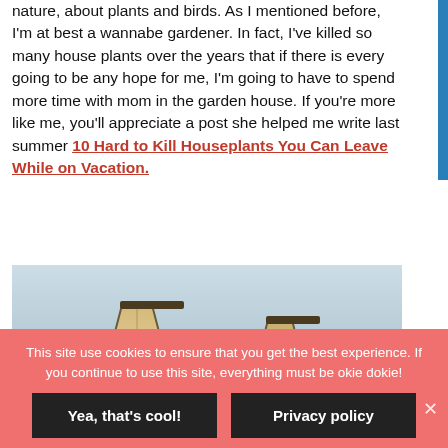nature, about plants and birds. As I mentioned before, I'm at best a wannabe gardener. In fact, I've killed so many house plants over the years that if there is every going to be any hope for me, I'm going to have to spend more time with mom in the garden house. If you're more like me, you'll appreciate a post she helped me write last summer 10 Hard to Kill Houseplants You Can Leave While on Vacation.
[Figure (photo): Two lamp shades photographed against a light grey/blue background, showing the tops of two table lamps with beige shades]
This site use cookies to ensure that you get the best experience. If you continue to use this site, everything must be okie dokie!
Yea, that's cool!
Privacy policy